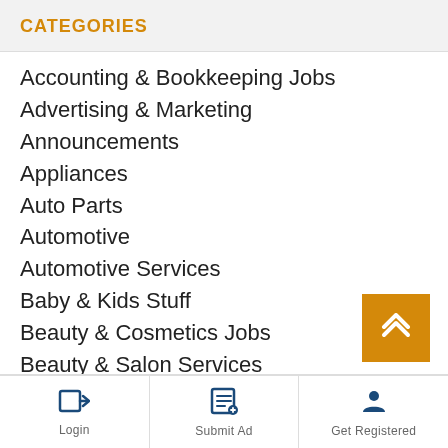CATEGORIES
Accounting & Bookkeeping Jobs
Advertising & Marketing
Announcements
Appliances
Auto Parts
Automotive
Automotive Services
Baby & Kids Stuff
Beauty & Cosmetics Jobs
Beauty & Salon Services
Bedsits & Rooms to rent
Birds
Boats & Watercraft
Books & ebooks
Login | Submit Ad | Get Registered